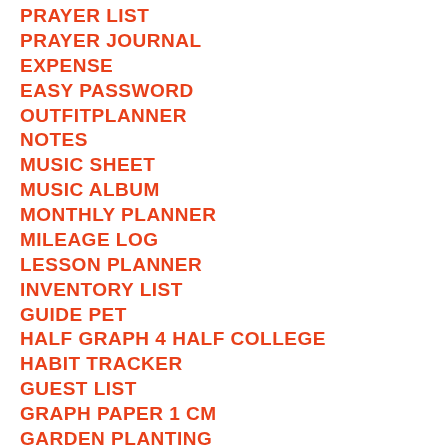PRAYER LIST
PRAYER JOURNAL
EXPENSE
EASY PASSWORD
OUTFITPLANNER
NOTES
MUSIC SHEET
MUSIC ALBUM
MONTHLY PLANNER
MILEAGE LOG
LESSON PLANNER
INVENTORY LIST
GUIDE PET
HALF GRAPH 4 HALF COLLEGE
HABIT TRACKER
GUEST LIST
GRAPH PAPER 1 CM
GARDEN PLANTING
FOOD JOURNAL